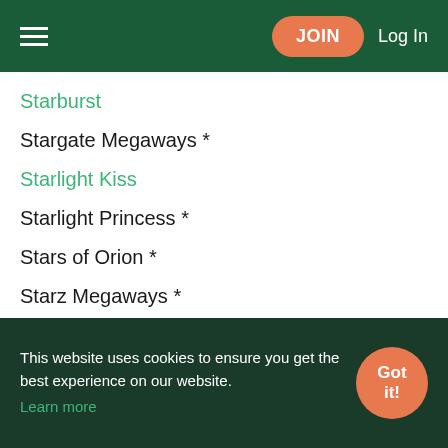JOIN  Log In
Starburst
Stargate Megaways *
Starlight Kiss
Starlight Princess *
Stars of Orion *
Starz Megaways *
Steam Tower *
Stick Em *
Stickers *
Sticky Bandits 3: Most Wanted *
This website uses cookies to ensure you get the best experience on our website. Learn more
Got it!